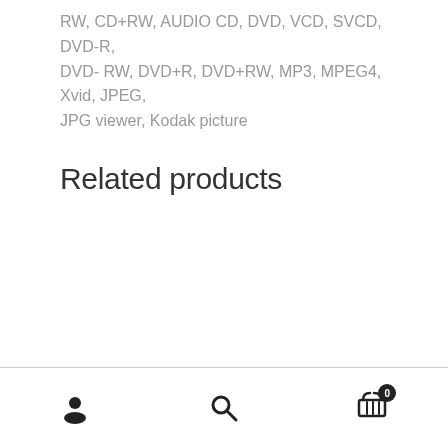RW, CD+RW, AUDIO CD, DVD, VCD, SVCD, DVD-R, DVD- RW, DVD+R, DVD+RW, MP3, MPEG4, Xvid, JPEG, JPG viewer, Kodak picture
Related products